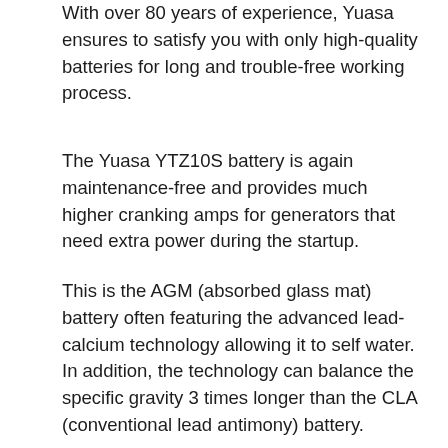With over 80 years of experience, Yuasa ensures to satisfy you with only high-quality batteries for long and trouble-free working process.
The Yuasa YTZ10S battery is again maintenance-free and provides much higher cranking amps for generators that need extra power during the startup.
This is the AGM (absorbed glass mat) battery often featuring the advanced lead-calcium technology allowing it to self water. In addition, the technology can balance the specific gravity 3 times longer than the CLA (conventional lead antimony) battery.